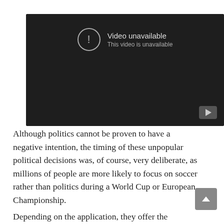[Figure (screenshot): YouTube video player showing 'Video unavailable' message with exclamation icon and YouTube logo in bottom right corner, dark background]
Although politics cannot be proven to have a negative intention, the timing of these unpopular political decisions was, of course, very deliberate, as millions of people are more likely to focus on soccer rather than politics during a World Cup or European Championship.
Depending on the application, they offer the